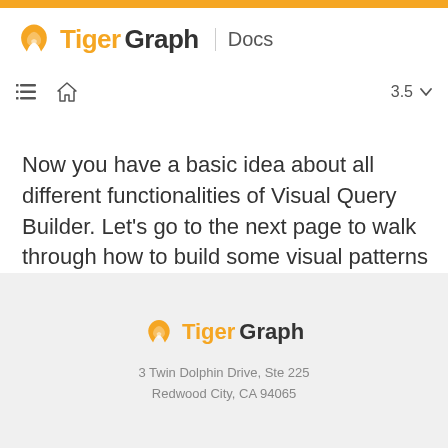TigerGraph Docs
Now you have a basic idea about all different functionalities of Visual Query Builder. Let’s go to the next page to walk through how to build some visual patterns to solve your business questions!
TigerGraph
3 Twin Dolphin Drive, Ste 225
Redwood City, CA 94065